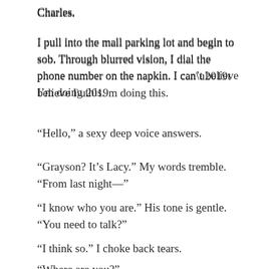Charles.
I pull into the mall parking lot and begin to sob. Through blurred vision, I dial the phone number on the napkin. I can’t believe I’m doing this.
“Hello,” a sexy deep voice answers.
“Grayson? It’s Lacy.” My words tremble. “From last night—”
“I know who you are.” His tone is gentle. “You need to talk?”
“I think so.” I choke back tears.
“Where are you?”